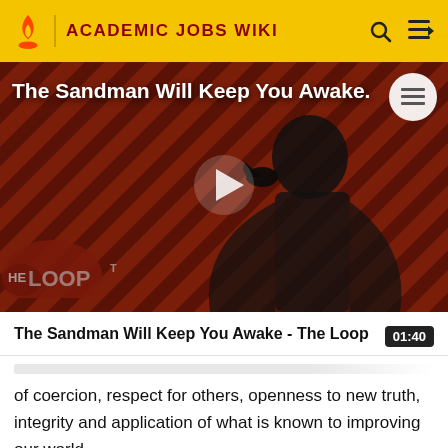ACADEMIC JOBS WIKI
[Figure (screenshot): Video thumbnail showing 'The Sandman Will Keep You Awake - The Loop' with a dark-cloaked figure on a red diagonal-striped background with THE LOOP watermark and a play button overlay]
The Sandman Will Keep You Awake - The Loop
of coercion, respect for others, openness to new truth, integrity and application of what is known to improving our world.